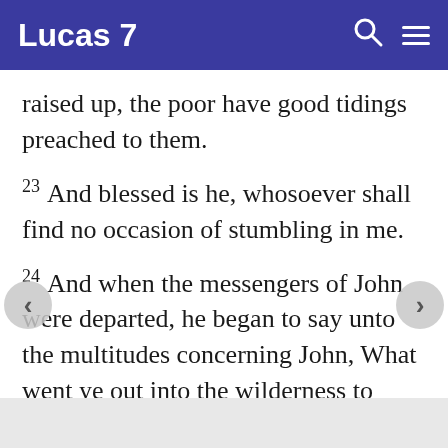Lucas 7
raised up, the poor have good tidings preached to them.
23 And blessed is he, whosoever shall find no occasion of stumbling in me.
24 And when the messengers of John were departed, he began to say unto the multitudes concerning John, What went ye out into the wilderness to behold? a reed shaken with the wind?
25 But what went ye out to see? a man